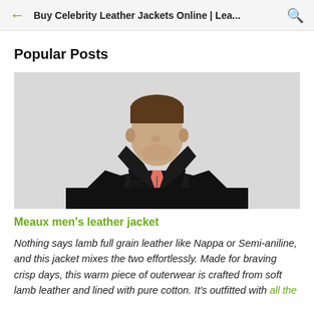Buy Celebrity Leather Jackets Online | Lea...
Popular Posts
[Figure (photo): Man wearing a black leather jacket over a coral/pink shirt, photographed from chest up against a light grey background.]
Meaux men's leather jacket
Nothing says lamb full grain leather like Nappa or Semi-aniline, and this jacket mixes the two effortlessly. Made for braving crisp days, this warm piece of outerwear is crafted from soft lamb leather and lined with pure cotton. It's outfitted with all the